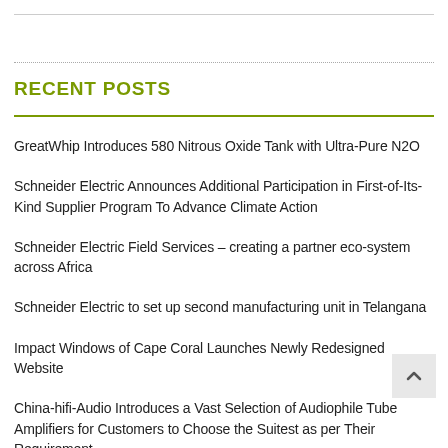RECENT POSTS
GreatWhip Introduces 580 Nitrous Oxide Tank with Ultra-Pure N2O
Schneider Electric Announces Additional Participation in First-of-Its-Kind Supplier Program To Advance Climate Action
Schneider Electric Field Services – creating a partner eco-system across Africa
Schneider Electric to set up second manufacturing unit in Telangana
Impact Windows of Cape Coral Launches Newly Redesigned Website
China-hifi-Audio Introduces a Vast Selection of Audiophile Tube Amplifiers for Customers to Choose the Suitest as per Their Requirement